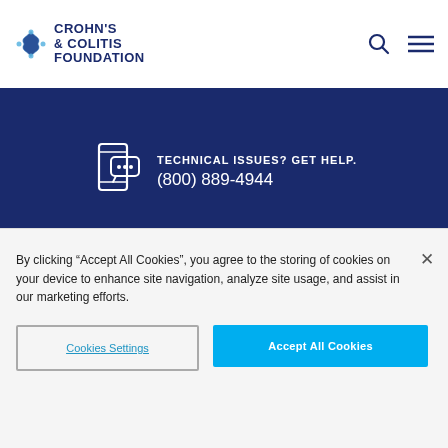[Figure (logo): Crohn's & Colitis Foundation logo with blue star-like graphic in top-left header area]
[Figure (infographic): Blue banner with phone/chat icon and text: TECHNICAL ISSUES? GET HELP. (800) 889-4944]
[Figure (logo): Crohn's & Colitis Foundation white logo on dark blue background in footer area]
By clicking “Accept All Cookies”, you agree to the storing of cookies on your device to enhance site navigation, analyze site usage, and assist in our marketing efforts.
Cookies Settings
Accept All Cookies